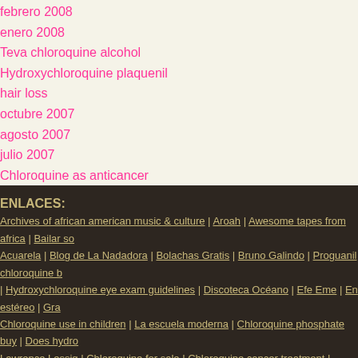febrero 2008
enero 2008
Teva chloroquine alcohol
Hydroxychloroquine plaquenil hair loss
octubre 2007
agosto 2007
julio 2007
Chloroquine as anticancer
ENLACES:
Archives of african american music & culture | Aroah | Awesome tapes from africa | Bailar so Acuarela | Blog de La Nadadora | Bolachas Gratis | Bruno Galindo | Proguanil chloroquine b | Hydroxychloroquine eye exam guidelines | Discoteca Océano | Efe Eme | En estéreo | Gra Chloroquine use in children | La escuela moderna | Chloroquine phosphate buy | Does hydro Lawrence Lessig | Chloroquine for sale | Chloroquine cancer treatment | Chloroquine protein Chloroquine dosage for lupus | Can hydroxychloroquine cause constipation | Nativa | Negrop | P2P foundation | Patricia Godes | Proguanil and chloroquine pregnancy | Perfect Sound Fo Pezimo | Playground | Chloroquine use in pregnancy | Reggaetonica | Generic chlordiazepo: hydroxychloroquine | Chloroquine diphosphate salt solution | Sibetrans | Chloroquine induce mefloquine | Tower Of Meaning |